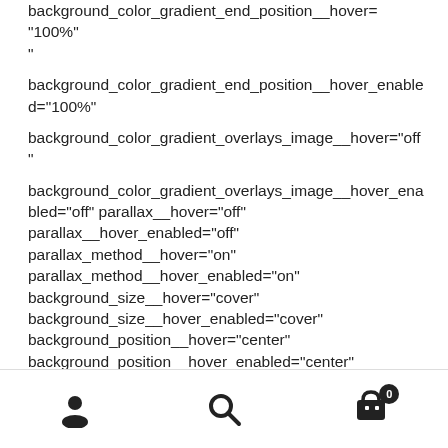background_color_gradient_end_position__hover="100%"
background_color_gradient_end_position__hover_enabled="100%"
background_color_gradient_overlays_image__hover="off"
background_color_gradient_overlays_image__hover_enabled="off" parallax__hover="off" parallax__hover_enabled="off" parallax_method__hover="on" parallax_method__hover_enabled="on" background_size__hover="cover" background_size__hover_enabled="cover" background_position__hover="center" background_position__hover_enabled="center"
user icon, search icon, cart icon with badge 0